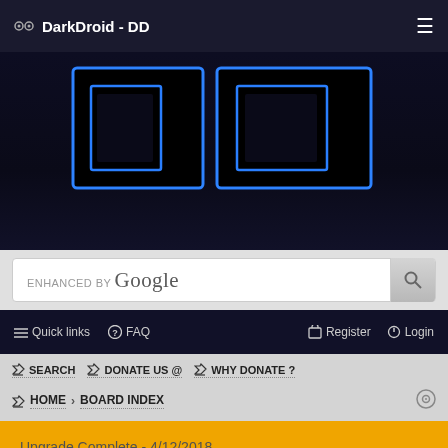DarkDroid - DD
[Figure (logo): DarkDroid DD logo — two stylized letter D shapes in blue neon outline on black background]
ENHANCED BY Google (search bar)
Quick links  FAQ  Register  Login
SEARCH  DONATE US @  WHY DONATE ?
HOME > BOARD INDEX
Upgrade Complete - 4/12/2018.

External Links Open In New Tab